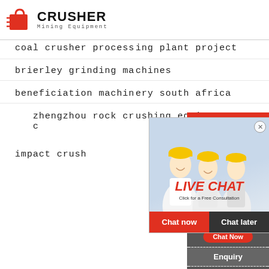[Figure (logo): Crusher Mining Equipment logo with red shopping bag icon and bold CRUSHER text]
coal crusher processing plant project
brierley grinding machines
beneficiation machinery south africa
zhengzhou rock crushing equipment stone c...
impact crush...
[Figure (screenshot): Live Chat popup overlay with workers in hard hats, LIVE CHAT heading, 'Click for a Free Consultation', Chat now and Chat later buttons]
[Figure (infographic): Right sidebar: 24Hrs Online header, Need questions & suggestion?, Chat Now button, Enquiry section, limingjlmofen@sina.com email]